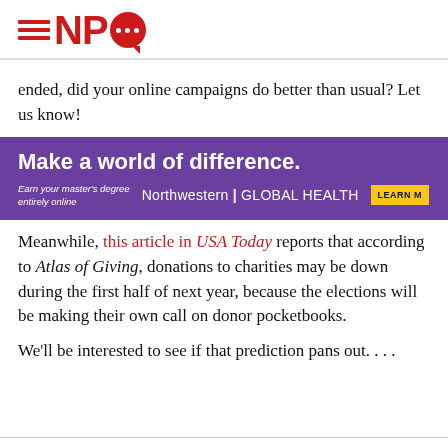NPQ logo header
ended, did your online campaigns do better than usual? Let us know!
[Figure (other): Northwestern Global Health advertisement banner: 'Make a world of difference. Earn your master's degree entirely online. Northwestern | GLOBAL HEALTH. LEARN MORE.']
Meanwhile, this article in USA Today reports that according to Atlas of Giving, donations to charities may be down during the first half of next year, because the elections will be making their own call on donor pocketbooks.
We'll be interested to see if that prediction pans out. . . .